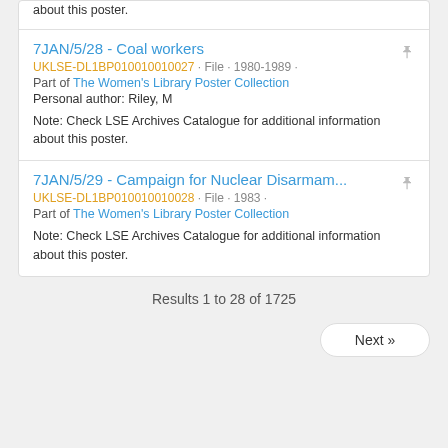about this poster.
7JAN/5/28 - Coal workers
UKLSE-DL1BP010010010027 · File · 1980-1989 ·
Part of The Women's Library Poster Collection
Personal author: Riley, M
Note: Check LSE Archives Catalogue for additional information about this poster.
7JAN/5/29 - Campaign for Nuclear Disarmam...
UKLSE-DL1BP010010010028 · File · 1983 ·
Part of The Women's Library Poster Collection
Note: Check LSE Archives Catalogue for additional information about this poster.
Results 1 to 28 of 1725
Next »